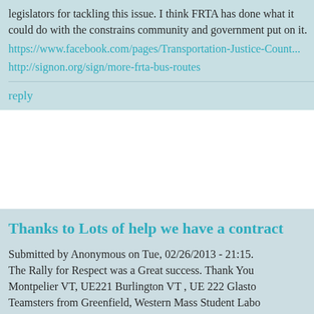legislators for tackling this issue. I think FRTA has done what it could do with the constrains community and government put on it.
https://www.facebook.com/pages/Transportation-Justice-Count...
http://signon.org/sign/more-frta-bus-routes
reply
Thanks to Lots of help we have a contract
Submitted by Anonymous on Tue, 02/26/2013 - 21:15. The Rally for Respect was a Great success. Thank You Montpelier VT, UE221 Burlington VT , UE 222 Glasto Teamsters from Greenfield, Western Mass Student Labo BayState Nurses, UE Members from Greenfield Marke Coop, Corrections Therapy... Greenfield City...